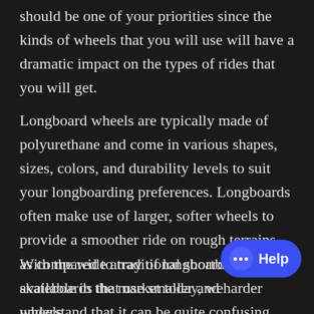should be one of your priorities since the kinds of wheels that you will use will have a dramatic impact on the types of rides that you will get.
Longboard wheels are typically made of polyurethane and come in various shapes, sizes, colors, and durability levels to suit your longboarding preferences. Longboards often make use of larger, softer wheels to provide a smoother ride on rough terrains, as compared to traditional shortboard skateboards that use smaller and harder wheels.
With the wide array of longboard wheels available in the market today, we understand that it can be quite confusing and overwhelming to make a decision on which longboard wheels to...
[Figure (other): Blue rounded Help chat button with speech bubble dots icon and 'Help' label text]